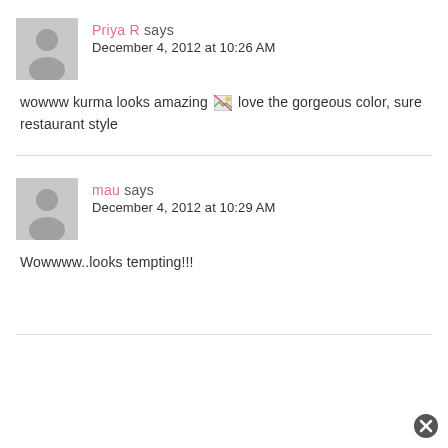Priya R says
December 4, 2012 at 10:26 AM
wowww kurma looks amazing [image] love the gorgeous color, sure restaurant style
mau says
December 4, 2012 at 10:29 AM
Wowwww..looks tempting!!!